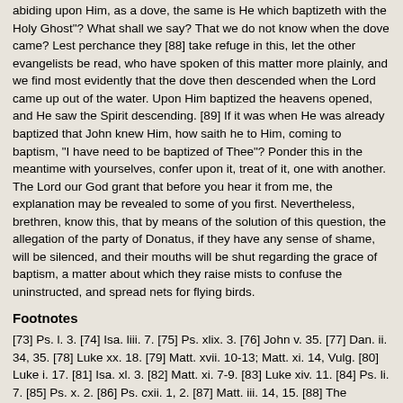abiding upon Him, as a dove, the same is He which baptizeth with the Holy Ghost"? What shall we say? That we do not know when the dove came? Lest perchance they [88] take refuge in this, let the other evangelists be read, who have spoken of this matter more plainly, and we find most evidently that the dove then descended when the Lord came up out of the water. Upon Him baptized the heavens opened, and He saw the Spirit descending. [89] If it was when He was already baptized that John knew Him, how saith he to Him, coming to baptism, "I have need to be baptized of Thee"? Ponder this in the meantime with yourselves, confer upon it, treat of it, one with another. The Lord our God grant that before you hear it from me, the explanation may be revealed to some of you first. Nevertheless, brethren, know this, that by means of the solution of this question, the allegation of the party of Donatus, if they have any sense of shame, will be silenced, and their mouths will be shut regarding the grace of baptism, a matter about which they raise mists to confuse the uninstructed, and spread nets for flying birds.
Footnotes
[73] Ps. l. 3. [74] Isa. liii. 7. [75] Ps. xlix. 3. [76] John v. 35. [77] Dan. ii. 34, 35. [78] Luke xx. 18. [79] Matt. xvii. 10-13; Matt. xi. 14, Vulg. [80] Luke i. 17. [81] Isa. xl. 3. [82] Matt. xi. 7-9. [83] Luke xiv. 11. [84] Ps. li. 7. [85] Ps. x. 2. [86] Ps. cxii. 1, 2. [87] Matt. iii. 14, 15. [88] The Donatists. [89] Matt. iii. 16; Mark i. 10; Luke iii. 21, 22. .
Tractate V.